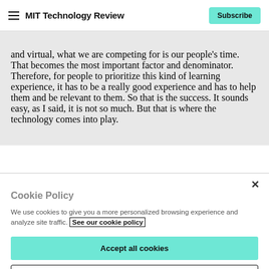MIT Technology Review | Subscribe
and virtual, what we are competing for is our people’s time. That becomes the most important factor and denominator. Therefore, for people to prioritize this kind of learning experience, it has to be a really good experience and has to help them and be relevant to them. So that is the success. It sounds easy, as I said, it is not so much. But that is where the technology comes into play.
Cookie Policy
We use cookies to give you a more personalized browsing experience and analyze site traffic. See our cookie policy
Accept all cookies
Cookies settings